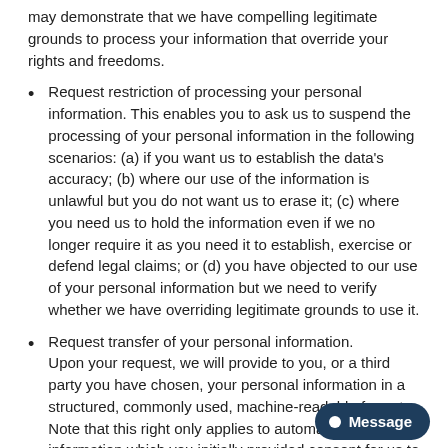may demonstrate that we have compelling legitimate grounds to process your information that override your rights and freedoms.
Request restriction of processing your personal information. This enables you to ask us to suspend the processing of your personal information in the following scenarios: (a) if you want us to establish the data's accuracy; (b) where our use of the information is unlawful but you do not want us to erase it; (c) where you need us to hold the information even if we no longer require it as you need it to establish, exercise or defend legal claims; or (d) you have objected to our use of your personal information but we need to verify whether we have overriding legitimate grounds to use it.
Request transfer of your personal information. Upon your request, we will provide to you, or a third party you have chosen, your personal information in a structured, commonly used, machine-readable format. Note that this right only applies to automated information which you initially provided consent for us to use or where we used the information to perform a contract with you.